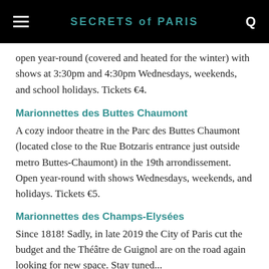SECRETS of PARIS
open year-round (covered and heated for the winter) with shows at 3:30pm and 4:30pm Wednesdays, weekends, and school holidays. Tickets €4.
Marionnettes des Buttes Chaumont
A cozy indoor theatre in the Parc des Buttes Chaumont (located close to the Rue Botzaris entrance just outside metro Buttes-Chaumont) in the 19th arrondissement. Open year-round with shows Wednesdays, weekends, and holidays. Tickets €5.
Marionnettes des Champs-Elysées
Since 1818! Sadly, in late 2019 the City of Paris cut the budget and the Théâtre de Guignol are on the road again looking for new space. Stay tuned...